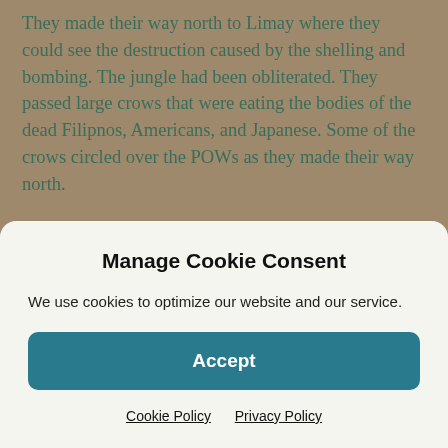They made their way north to Limay where they could see the destruction caused by the shelling and bombing. The jungle had been obliterated. They passed large crows that were eating the bodies of the dead Filipnos, Americans, and Japanese. Some of the crows circled over the POWs as they made their way north.
The members of the company were marched to the main north-south road where they were searched and stripped of watches, rings, wallets, and anything else the Japanese wanted. They next were made to form detachments of 100 men and made to march. They had started what they
Manage Cookie Consent
We use cookies to optimize our website and our service.
Accept
Cookie Policy   Privacy Policy